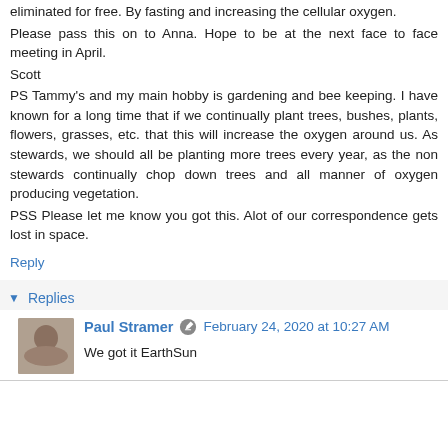eliminated for free. By fasting and increasing the cellular oxygen.
Please pass this on to Anna. Hope to be at the next face to face meeting in April.
Scott
PS Tammy's and my main hobby is gardening and bee keeping. I have known for a long time that if we continually plant trees, bushes, plants, flowers, grasses, etc. that this will increase the oxygen around us. As stewards, we should all be planting more trees every year, as the non stewards continually chop down trees and all manner of oxygen producing vegetation.
PSS Please let me know you got this. Alot of our correspondence gets lost in space.
Reply
Replies
Paul Stramer  February 24, 2020 at 10:27 AM
We got it EarthSun